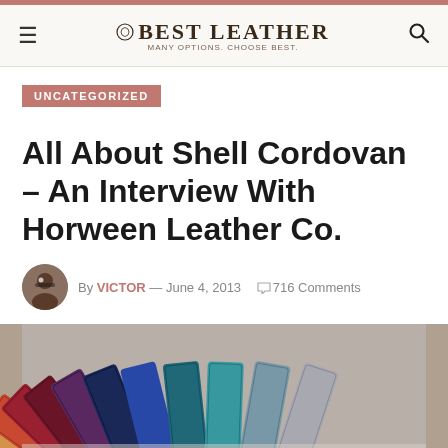Best Leather — Many Options. Choose Best.
UNCATEGORIZED
All About Shell Cordovan – An Interview With Horween Leather Co.
By VICTOR — June 4, 2013  716 Comments
[Figure (photo): Fan of colorful leather wallet swatches spread out, showing various colors including tan, red, burgundy, purple, blue, teal, and grey cordovan leather pieces.]